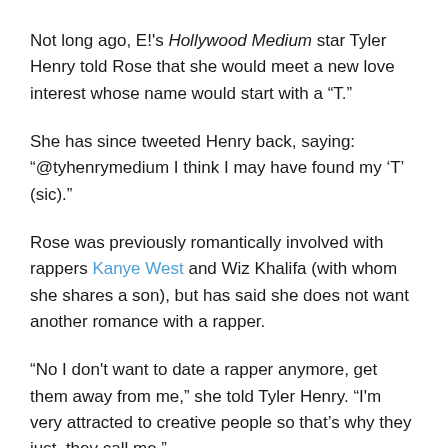Not long ago, E!'s Hollywood Medium star Tyler Henry told Rose that she would meet a new love interest whose name would start with a “T.”
She has since tweeted Henry back, saying: “@tyhenrymedium I think I may have found my ‘T’ (sic).”
Rose was previously romantically involved with rappers Kanye West and Wiz Khalifa (with whom she shares a son), but has said she does not want another romance with a rapper.
“No I don’t want to date a rapper anymore, get them away from me,” she told Tyler Henry. “I’m very attracted to creative people so that’s why they just, they call me.”